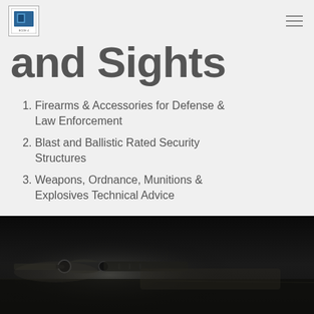[Figure (logo): Small square logo with blue and white graphic, border]
and Sights
Firearms & Accessories for Defense & Law Enforcement
Blast and Ballistic Rated Security Structures
Weapons, Ordnance, Munitions & Explosives Technical Advice
[Figure (photo): Dark black and white photo of firearm/rifle with scope on a surface, low-key lighting]